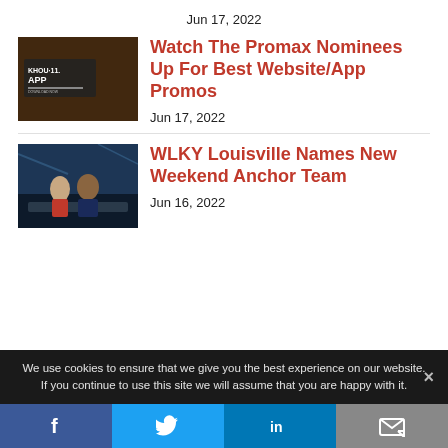Jun 17, 2022
[Figure (photo): KHOU 11 App promotional image with bees in background]
Watch The Promax Nominees Up For Best Website/App Promos
Jun 17, 2022
[Figure (photo): WLKY Louisville news anchors sitting at desk in studio]
WLKY Louisville Names New Weekend Anchor Team
Jun 16, 2022
We use cookies to ensure that we give you the best experience on our website. If you continue to use this site we will assume that you are happy with it.
Facebook | Twitter | LinkedIn | Email